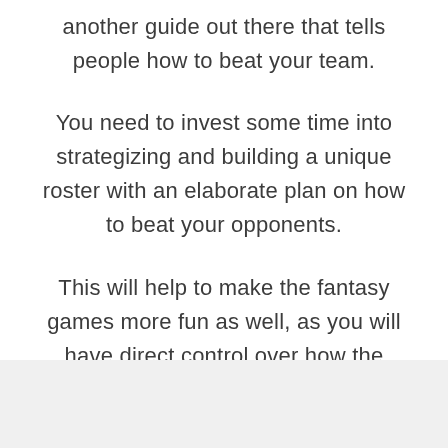another guide out there that tells people how to beat your team.
You need to invest some time into strategizing and building a unique roster with an elaborate plan on how to beat your opponents.
This will help to make the fantasy games more fun as well, as you will have direct control over how the games go.